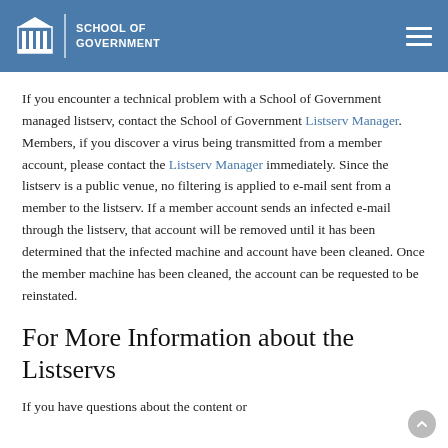UNC School of Government
If you encounter a technical problem with a School of Government managed listserv, contact the School of Government Listserv Manager. Members, if you discover a virus being transmitted from a member account, please contact the Listserv Manager immediately. Since the listserv is a public venue, no filtering is applied to e-mail sent from a member to the listserv. If a member account sends an infected e-mail through the listserv, that account will be removed until it has been determined that the infected machine and account have been cleaned. Once the member machine has been cleaned, the account can be requested to be reinstated.
For More Information about the Listservs
If you have questions about the content or